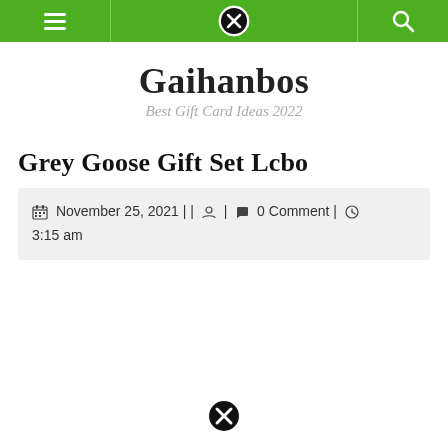Gaihanbos navigation bar
Gaihanbos
Best Gift Card Ideas 2022
Grey Goose Gift Set Lcbo
November 25, 2021 | | | 0 Comment | 3:15 am